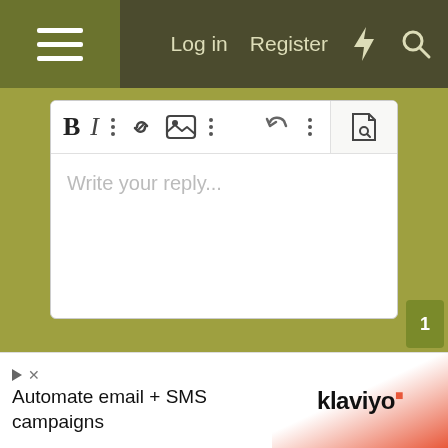Log in  Register
[Figure (screenshot): Forum reply editor with toolbar showing Bold, Italic, dots, link, image, dots icons, undo, dots, and a file-search icon. Text area shows placeholder 'Write your reply...']
Write your reply...
[Figure (screenshot): Post reply button with reply arrow icon]
[Figure (screenshot): Advertisement banner: 'Automate email + SMS campaigns' with Klaviyo logo and play/close icons]